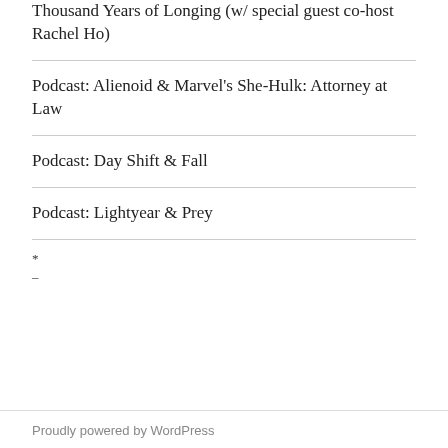Thousand Years of Longing (w/ special guest co-host Rachel Ho)
Podcast: Alienoid & Marvel's She-Hulk: Attorney at Law
Podcast: Day Shift & Fall
Podcast: Lightyear & Prey
*
–
Proudly powered by WordPress